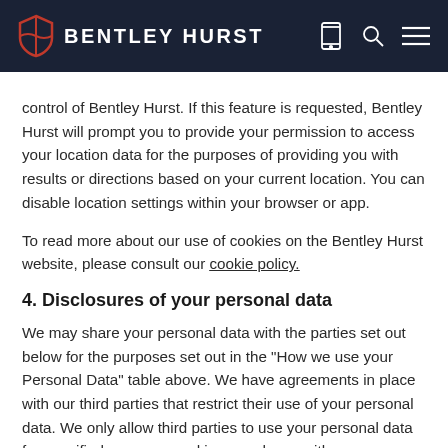BENTLEY HURST
control of Bentley Hurst. If this feature is requested, Bentley Hurst will prompt you to provide your permission to access your location data for the purposes of providing you with results or directions based on your current location. You can disable location settings within your browser or app.
To read more about our use of cookies on the Bentley Hurst website, please consult our cookie policy.
4. Disclosures of your personal data
We may share your personal data with the parties set out below for the purposes set out in the "How we use your Personal Data" table above. We have agreements in place with our third parties that restrict their use of your personal data. We only allow third parties to use your personal data for specified purposes and in accordance with our